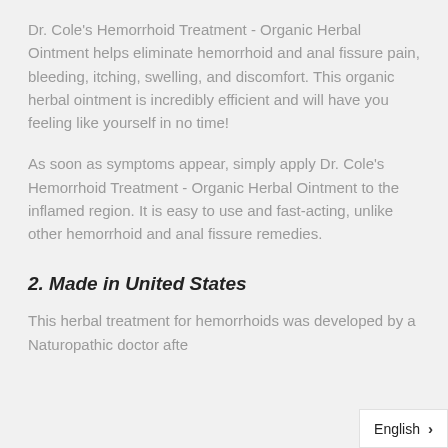Dr. Cole's Hemorrhoid Treatment - Organic Herbal Ointment helps eliminate hemorrhoid and anal fissure pain, bleeding, itching, swelling, and discomfort. This organic herbal ointment is incredibly efficient and will have you feeling like yourself in no time!
As soon as symptoms appear, simply apply Dr. Cole's Hemorrhoid Treatment - Organic Herbal Ointment to the inflamed region. It is easy to use and fast-acting, unlike other hemorrhoid and anal fissure remedies.
2. Made in United States
This herbal treatment for hemorrhoids was developed by a Naturopathic doctor afte
English >